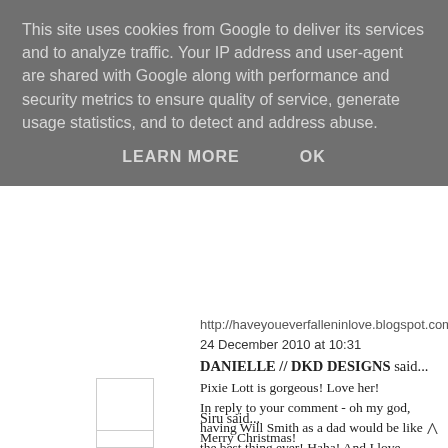This site uses cookies from Google to deliver its services and to analyze traffic. Your IP address and user-agent are shared with Google along with performance and security metrics to ensure quality of service, generate usage statistics, and to detect and address abuse.
LEARN MORE   OK
http://haveyoueverfalleninlove.blogspot.com/
24 December 2010 at 10:31
DANIELLE // DKD DESIGNS said...
Pixie Lott is gorgeous! Love her!
In reply to your comment - oh my god, having Will Smith as a dad would be like the best thing ever! Haha! And I love seeing people on here the same age as me, :). At the moment I'm doing my GCSE's but in September I will be starting my A Levels, are you doing yours? :).
Merry Christmas!
xoxo
24 December 2010 at 10:47
Siru said...
Merry Christmas!